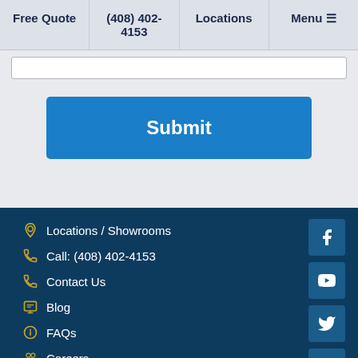Free Quote | (408) 402-4153 | Locations | Menu
[Figure (screenshot): Blue submit button on grey form background]
Locations / Showrooms
Call: (408) 402-4153
Contact Us
Blog
FAQs
Careers